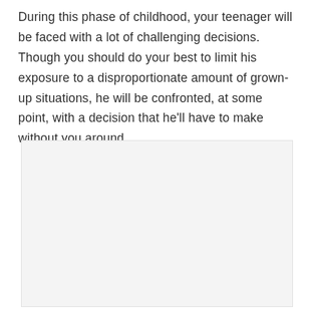During this phase of childhood, your teenager will be faced with a lot of challenging decisions. Though you should do your best to limit his exposure to a disproportionate amount of grown-up situations, he will be confronted, at some point, with a decision that he'll have to make without you around.
[Figure (photo): A large light gray rectangular placeholder image area occupying the lower portion of the page.]